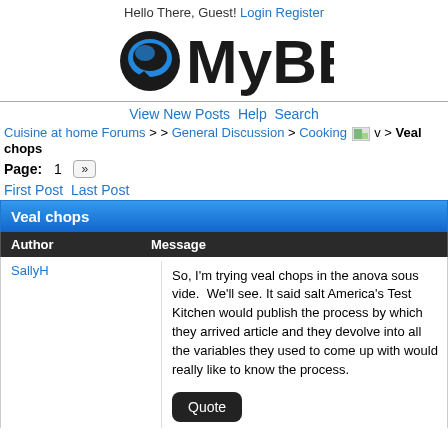Hello There, Guest! Login Register
[Figure (logo): MyBB forum logo with chat bubble icon and bold MyBB text]
View New Posts Help Search
Cuisine at home Forums > > General Discussion > Cooking > Veal chops
Page: 1 »
First Post Last Post
Veal chops
| Author | Message |
| --- | --- |
| SallyH | So, I'm trying veal chops in the anova sous vide.  We'll see. It said salt America's Test Kitchen would publish the process by which they arrived article and they devolve into all the variables they used to come up with would really like to know the process. |
Quote